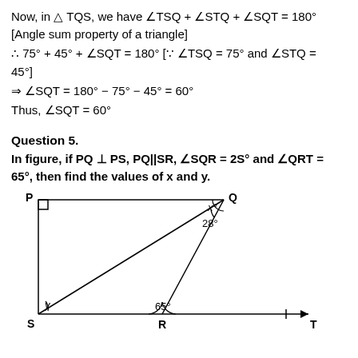Now, in △TQS, we have ∠TSQ + ∠STQ + ∠SQT = 180° [Angle sum property of a triangle]
∴ 75° + 45° + ∠SQT = 180° [∵ ∠TSQ = 75° and ∠STQ = 45°]
⇒ ∠SQT = 180° − 75° − 45° = 60°
Thus, ∠SQT = 60°
Question 5.
In figure, if PQ ⊥ PS, PQ||SR, ∠SQR = 2S° and ∠QRT = 65°, then find the values of x and y.
[Figure (engineering-diagram): Geometric figure showing quadrilateral PQRS with point R on line ST. P is top-left with a right angle, Q is top-right, S is bottom-left, R is bottom-middle, T is to the right on a horizontal ray. Angle x is at Q (top), angle 28° is below x at Q, angle y is at S (bottom-left), angle 65° is at R. Lines drawn from Q to S and Q to R forming triangles.]